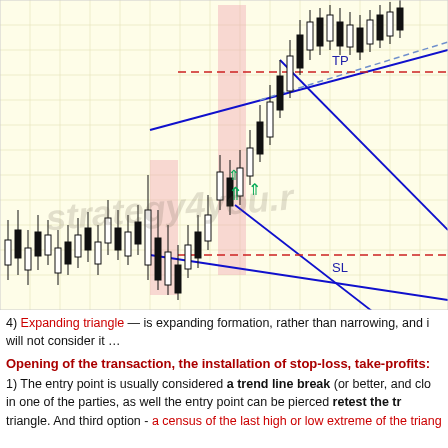[Figure (financial-chart): Candlestick chart with expanding triangle pattern. Shows two diverging blue trend lines forming an expanding triangle. Pink shaded regions highlight entry zones. Green up arrows indicate buy signals near breakout. Red dashed horizontal lines mark TP (take profit) at top and SL (stop loss) at bottom. Labels 'TP' and 'SL' visible. Watermark text 'strategy4you.r' overlaid on chart.]
4) Expanding triangle — is expanding formation, rather than narrowing, and it will not consider it …
Opening of the transaction, the installation of stop-loss, take-profits:
1) The entry point is usually considered a trend line break (or better, and close in one of the parties, as well the entry point can be pierced retest the tr triangle. And third option - a census of the last high or low extreme of the triang